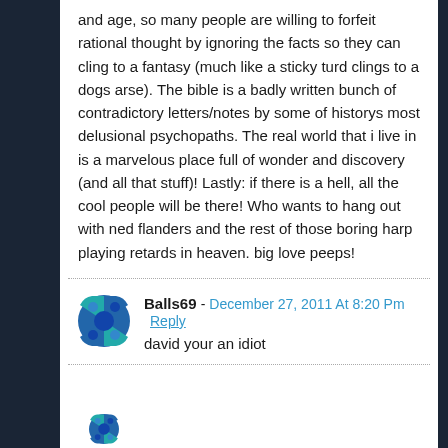and age, so many people are willing to forfeit rational thought by ignoring the facts so they can cling to a fantasy (much like a sticky turd clings to a dogs arse).  The bible is a badly written bunch of contradictory letters/notes by some of historys most delusional psychopaths. The real world that i live in is a marvelous place full of wonder and discovery (and all that stuff)!  Lastly: if there is a hell, all the cool people will be there!  Who wants to hang out with ned flanders and the rest of those boring harp playing retards in heaven.  big love peeps!
Balls69 - December 27, 2011 At 8:20 Pm Reply
david your an idiot